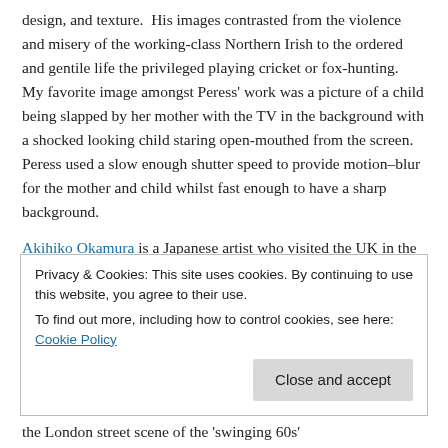design, and texture.  His images contrasted from the violence and misery of the working-class Northern Irish to the ordered and gentile life the privileged playing cricket or fox-hunting.  My favorite image amongst Peress' work was a picture of a child being slapped by her mother with the TV in the background with a shocked looking child staring open-mouthed from the screen.  Peress used a slow enough shutter speed to provide motion–blur for the mother and child whilst fast enough to have a sharp background.
Akihiko Okamura is a Japanese artist who visited the UK in the late 1960's early 70's and recorded his time in Northern-Ireland...
Privacy & Cookies: This site uses cookies. By continuing to use this website, you agree to their use.
To find out more, including how to control cookies, see here: Cookie Policy
the London street scene of the 'swinging 60s'